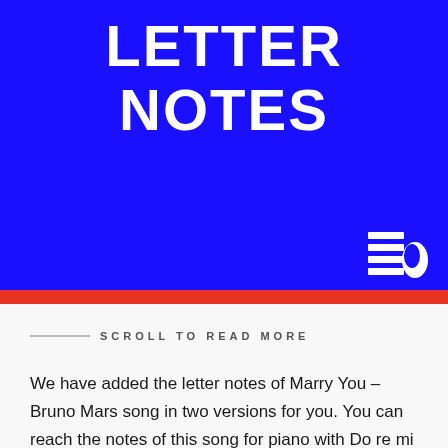LETTER NOTES
[Figure (logo): A stylized logo icon resembling stacked lines with a curved element, black and white, on blue background]
SCROLL TO READ MORE
We have added the letter notes of Marry You – Bruno Mars song in two versions for you. You can reach the notes of this song for piano with Do re mi and A B C version. Written notes were created to provide